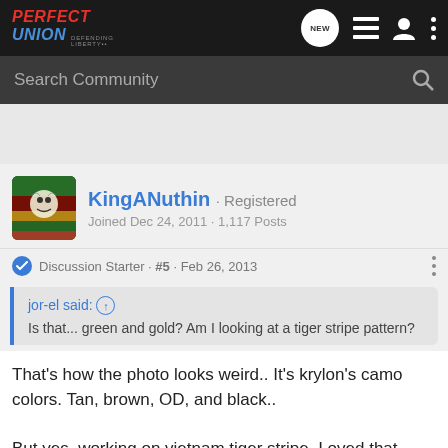Perfect Union - Defending Liberty
Search Community
KingANuthin · Registered
Joined Dec 24, 2011 · 1,117 Posts
Discussion Starter · #5 · Feb 26, 2013
jor-el said: ↑
Is that... green and gold? Am I looking at a tiger stripe pattern?
That's how the photo looks weird.. It's krylon's camo colors. Tan, brown, OD, and black..

But yes, working on vietnam tiger stripe, I oved that pattern